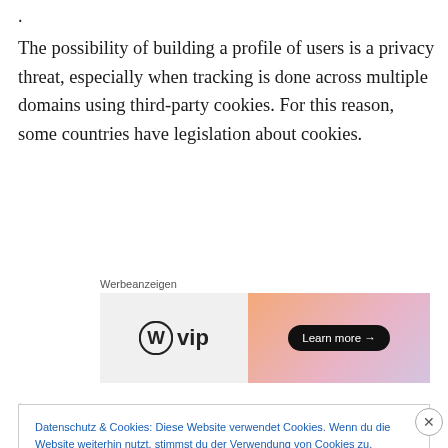.
The possibility of building a profile of users is a privacy threat, especially when tracking is done across multiple domains using third-party cookies. For this reason, some countries have legislation about cookies.
[Figure (other): Advertisement banner for WordPress VIP with 'Learn more' button on a gradient orange-pink background]
.
Datenschutz & Cookies: Diese Website verwendet Cookies. Wenn du die Website weiterhin nutzt, stimmst du der Verwendung von Cookies zu. Weitere Informationen, beispielsweise zur Kontrolle von Cookies, findest du hier: Cookie-Richtlinie
Schließen und Akzeptieren